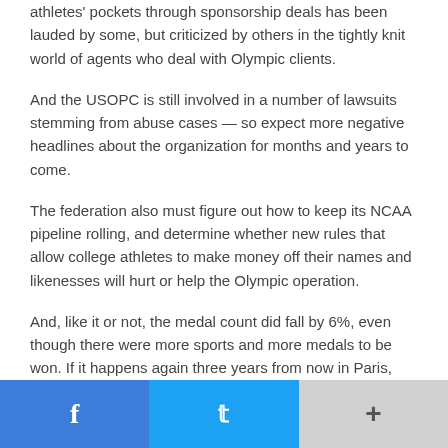athletes' pockets through sponsorship deals has been lauded by some, but criticized by others in the tightly knit world of agents who deal with Olympic clients.
And the USOPC is still involved in a number of lawsuits stemming from abuse cases — so expect more negative headlines about the organization for months and years to come.
The federation also must figure out how to keep its NCAA pipeline rolling, and determine whether new rules that allow college athletes to make money off their names and likenesses will hurt or help the Olympic operation.
And, like it or not, the medal count did fall by 6%, even though there were more sports and more medals to be won. If it happens again three years from now in Paris, with the Los Angeles Olympics on deck, it stands to reason not everyone will be so sanguine.
Facebook | Twitter | More